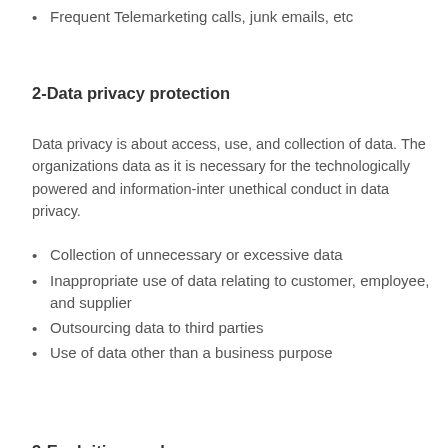Frequent Telemarketing calls, junk emails, etc
2-Data privacy protection
Data privacy is about access, use, and collection of data. The organizations data as it is necessary for the technologically powered and information-inte unethical conduct in data privacy.
Collection of unnecessary or excessive data
Inappropriate use of data relating to customer, employee, and supplier
Outsourcing data to third parties
Use of data other than a business purpose
3-Exploiting workers